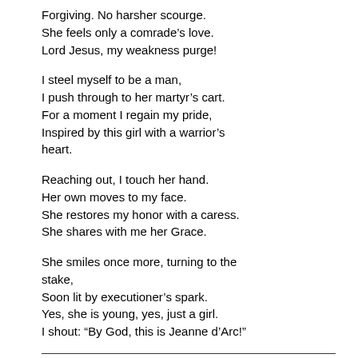Forgiving. No harsher scourge.
She feels only a comrade’s love.
Lord Jesus, my weakness purge!
I steel myself to be a man,
I push through to her martyr’s cart.
For a moment I regain my pride,
Inspired by this girl with a warrior’s heart.
Reaching out, I touch her hand.
Her own moves to my face.
She restores my honor with a caress.
She shares with me her Grace.
She smiles once more, turning to the stake,
Soon lit by executioner’s spark.
Yes, she is young, yes, just a girl.
I shout: “By God, this is Jeanne d’Arc!”
THE RIVER